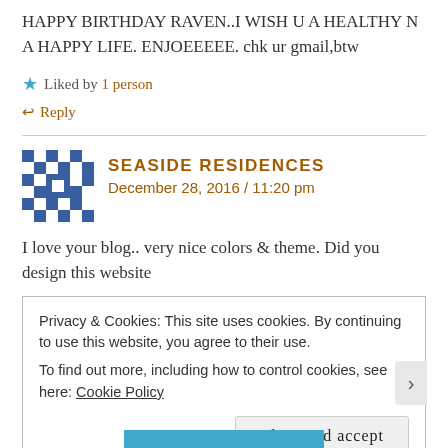HAPPY BIRTHDAY RAVEN..I WISH U A HEALTHY N A HAPPY LIFE. ENJOEEEEE. chk ur gmail,btw
★ Liked by 1 person
↩ Reply
SEASIDE RESIDENCES
December 28, 2016 / 11:20 pm
I love your blog.. very nice colors & theme. Did you design this website
Privacy & Cookies: This site uses cookies. By continuing to use this website, you agree to their use.
To find out more, including how to control cookies, see here: Cookie Policy
Close and accept